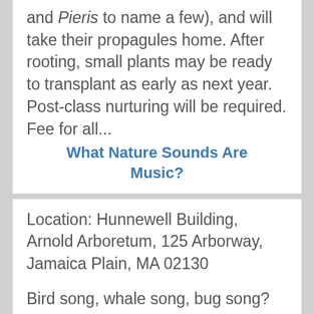and Pieris to name a few), and will take their propagules home. After rooting, small plants may be ready to transplant as early as next year. Post-class nurturing will be required. Fee for all...
What Nature Sounds Are Music?
Location: Hunnewell Building, Arnold Arboretum, 125 Arborway, Jamaica Plain, MA 02130
Bird song, whale song, bug song? Are these sounds really music? What of the whistle of the wind? David Rothenberg, author of three books,